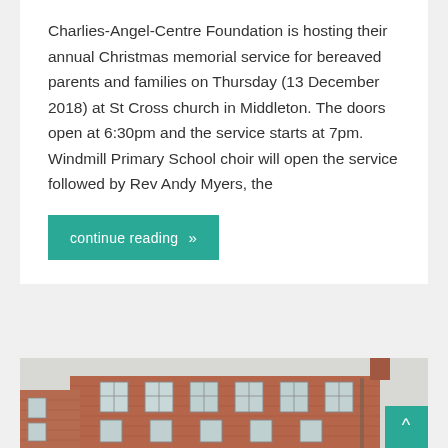Charlies-Angel-Centre Foundation is hosting their annual Christmas memorial service for bereaved parents and families on Thursday (13 December 2018) at St Cross church in Middleton. The doors open at 6:30pm and the service starts at 7pm. Windmill Primary School choir will open the service followed by Rev Andy Myers, the
continue reading »
[Figure (photo): Exterior photograph of a red brick building, multi-storey, with white-framed windows, taken from a low angle looking up. A teal/green scroll-to-top button is visible in the bottom-right corner.]